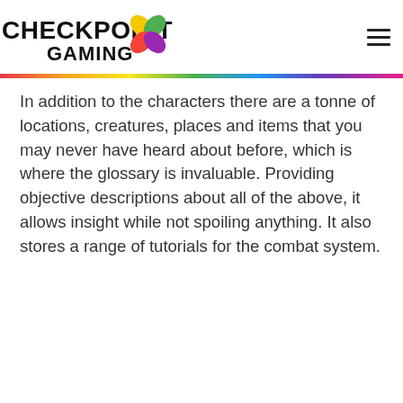CHECKPOINT GAMING
In addition to the characters there are a tonne of locations, creatures, places and items that you may never have heard about before, which is where the glossary is invaluable. Providing objective descriptions about all of the above, it allows insight while not spoiling anything. It also stores a range of tutorials for the combat system.